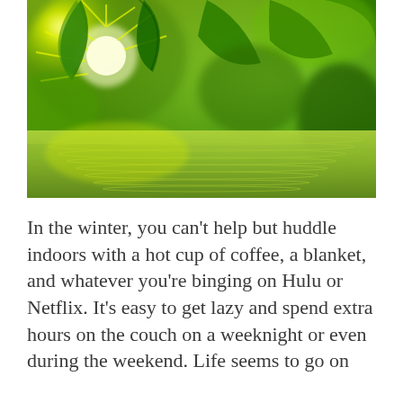[Figure (photo): Bright sunlight shining through lush green maple leaves with water reflection below, creating a vibrant nature scene]
In the winter, you can't help but huddle indoors with a hot cup of coffee, a blanket, and whatever you're binging on Hulu or Netflix. It's easy to get lazy and spend extra hours on the couch on a weeknight or even during the weekend. Life seems to go on